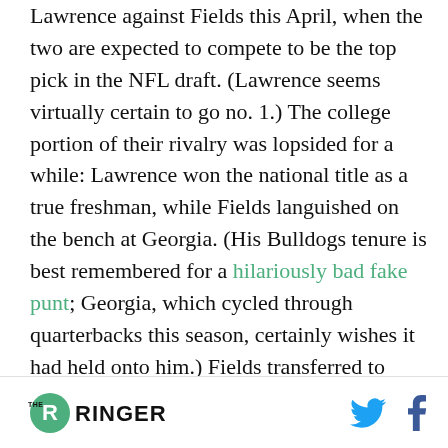Lawrence against Fields this April, when the two are expected to compete to be the top pick in the NFL draft. (Lawrence seems virtually certain to go no. 1.) The college portion of their rivalry was lopsided for a while: Lawrence won the national title as a true freshman, while Fields languished on the bench at Georgia. (His Bulldogs tenure is best remembered for a hilariously bad fake punt; Georgia, which cycled through quarterbacks this season, certainly wishes it had held onto him.) Fields transferred to Ohio State and played exceptionally, but threw a rare, critical late
THE RINGER